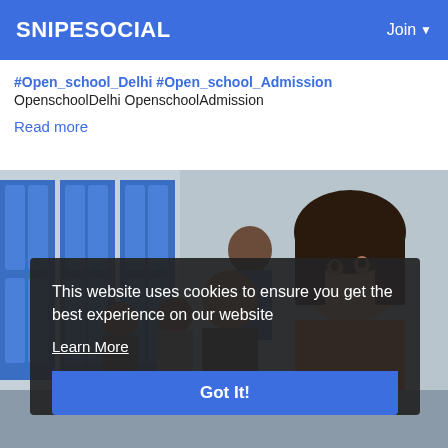SNIPESOCIAL    Join
#Open_school_Delhi #Open_school_Admission
OpenschoolDelhi OpenschoolAdmission
Read more
[Figure (photo): Students in a library/classroom setting; a young woman in an orange top in the foreground, other students and blue lockers/shelves in the background.]
This website uses cookies to ensure you get the best experience on our website
Learn More
Got It!